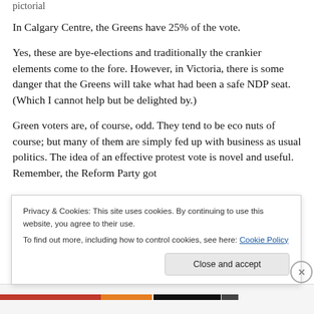pictorial
In Calgary Centre, the Greens have 25% of the vote.
Yes, these are bye-elections and traditionally the crankier elements come to the fore. However, in Victoria, there is some danger that the Greens will take what had been a safe NDP seat. (Which I cannot help but be delighted by.)
Green voters are, of course, odd. They tend to be eco nuts of course; but many of them are simply fed up with business as usual politics. The idea of an effective protest vote is novel and useful. Remember, the Reform Party got
Privacy & Cookies: This site uses cookies. By continuing to use this website, you agree to their use.
To find out more, including how to control cookies, see here: Cookie Policy